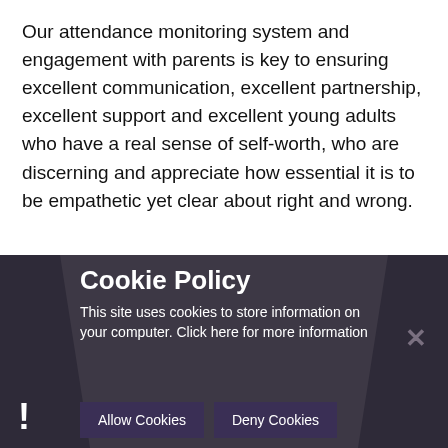Our attendance monitoring system and engagement with parents is key to ensuring excellent communication, excellent partnership, excellent support and excellent young adults who have a real sense of self-worth, who are discerning and appreciate how essential it is to be empathetic yet clear about right and wrong.
Cookie Policy
This site uses cookies to store information on your computer. Click here for more information
Allow Cookies
Deny Cookies